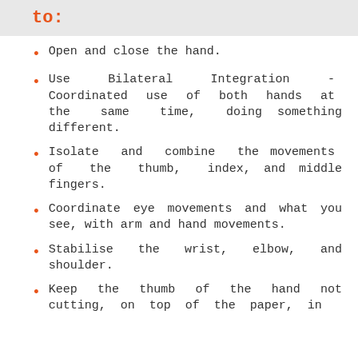to:
Open and close the hand.
Use Bilateral Integration - Coordinated use of both hands at the same time, doing something different.
Isolate and combine the movements of the thumb, index, and middle fingers.
Coordinate eye movements and what you see, with arm and hand movements.
Stabilise the wrist, elbow, and shoulder.
Keep the thumb of the hand not cutting, on top of the paper, in